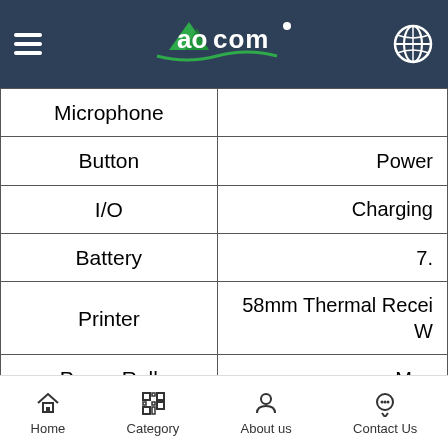Aocom header with menu, logo, and globe icon
| Feature | Value |
| --- | --- |
| Microphone |  |
| Button | Power |
| I/O | Charging |
| Battery | 7. |
| Printer | 58mm Thermal Recei W |
| Paper Roll | Max |
| Power Adapter | Input：10 O |
Home  Category  About us  Contact Us